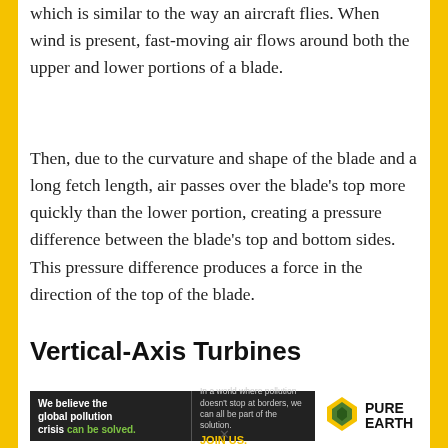which is similar to the way an aircraft flies. When wind is present, fast-moving air flows around both the upper and lower portions of a blade.
Then, due to the curvature and shape of the blade and a long fetch length, air passes over the blade's top more quickly than the lower portion, creating a pressure difference between the blade's top and bottom sides. This pressure difference produces a force in the direction of the top of the blade.
Vertical-Axis Turbines
[Figure (infographic): Pure Earth advertisement banner. Left side dark background with white bold text: 'We believe the global pollution crisis can be solved.' where 'can be solved.' is in green. Right side shows text: 'In a world where pollution doesn't stop at borders, we can all be part of the solution.' and yellow 'JOIN US.' text. Followed by Pure Earth logo with diamond icon.]